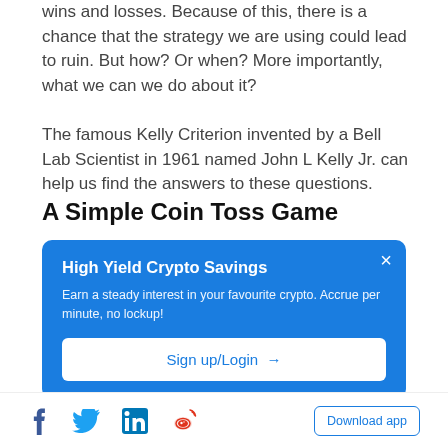wins and losses. Because of this, there is a chance that the strategy we are using could lead to ruin. But how? Or when? More importantly, what we can we do about it?
The famous Kelly Criterion invented by a Bell Lab Scientist in 1961 named John L Kelly Jr. can help us find the answers to these questions.
A Simple Coin Toss Game
[Figure (infographic): Blue advertisement box for High Yield Crypto Savings. Title: 'High Yield Crypto Savings'. Description: 'Earn a steady interest in your favourite crypto. Accrue per minute, no lockup!' Button: 'Sign up/Login →'. Close button (×) in top right.]
Social icons: Facebook, Twitter, LinkedIn, Weibo. Download app button.